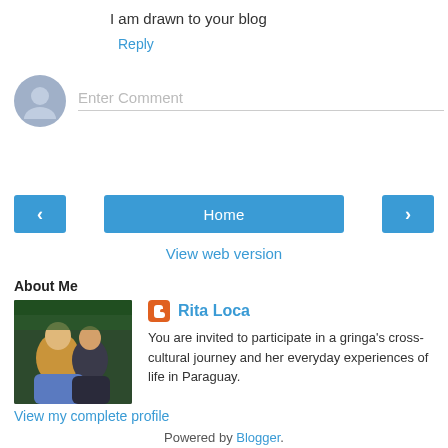I am drawn to your blog
Reply
Enter Comment
Home
View web version
About Me
[Figure (photo): Profile photo of Rita Loca showing two people close together outdoors]
Rita Loca
You are invited to participate in a gringa's cross-cultural journey and her everyday experiences of life in Paraguay.
View my complete profile
Powered by Blogger.